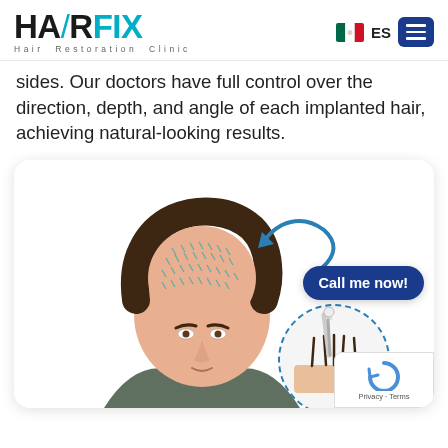[Figure (logo): HairFix Hair Restoration Clinic logo with teal/dark color scheme]
sides. Our doctors have full control over the direction, depth, and angle of each implanted hair, achieving natural-looking results.
[Figure (illustration): Illustration of a man with hair loss pattern shown on scalp with dotted implant lines, a circular inset showing FUE hair graft procedure detail with a 'Call me now!' button overlay and a blue arrow pointing to the head]
Call me now!
Privacy · Terms